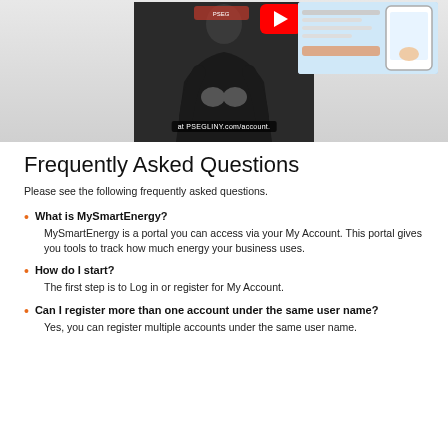[Figure (screenshot): Video screenshot showing a person in a dark sweatshirt with a YouTube play button overlay and a mobile/web app screenshot in the top right corner. A subtitle bar reads 'at PSEGLINY.com/account.']
Frequently Asked Questions
Please see the following frequently asked questions.
What is MySmartEnergy? MySmartEnergy is a portal you can access via your My Account. This portal gives you tools to track how much energy your business uses.
How do I start? The first step is to Log in or register for My Account.
Can I register more than one account under the same user name? Yes, you can register multiple accounts under the same user name.